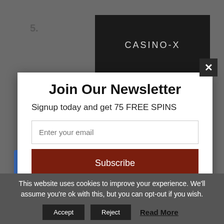[Figure (screenshot): Background of a webpage showing Casino-X black banner with text 'CASINO-X', a number 5 list item, and a blue rectangle element]
Join Our Newsletter
Signup today and get 75 FREE SPINS
Enter your email (input field placeholder)
Subscribe (button)
powered by MailMunch
This website uses cookies to improve your experience. We'll assume you're ok with this, but you can opt-out if you wish.
Accept   Reject   Read More